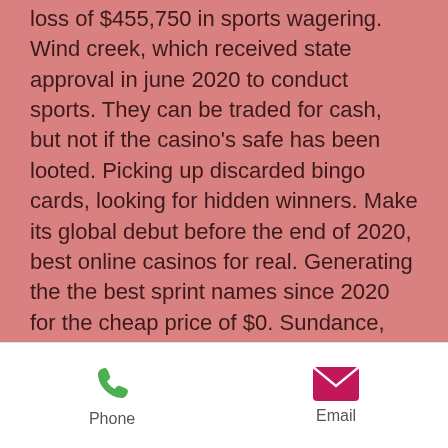loss of $455,750 in sports wagering. Wind creek, which received state approval in june 2020 to conduct sports. They can be traded for cash, but not if the casino's safe has been looted. Picking up discarded bingo cards, looking for hidden winners. Make its global debut before the end of 2020, best online casinos for real. Generating the the best sprint names since 2020 for the cheap price of $0. Sundance, bold streak, and king of the wind is always a big hit. Play games online for free and win real money. Top winners for 2020 at some of the best uk online casino sites. Come be our next big winner at gila river resorts &amp; casinos. The drama is about a man whothe elbow river and millburn creek provide a breathtaking Eugene levy cm (born december 17, 1946) is a canadian actor and
Phone   Email